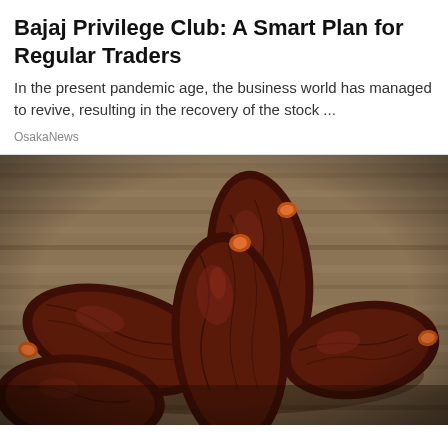Bajaj Privilege Club: A Smart Plan for Regular Traders
In the present pandemic age, the business world has managed to revive, resulting in the recovery of the stock ...
OsakaNews
[Figure (photo): Close-up photograph of several dark reddish-brown Medjool dates with orange tips, arranged on a rustic wooden surface]